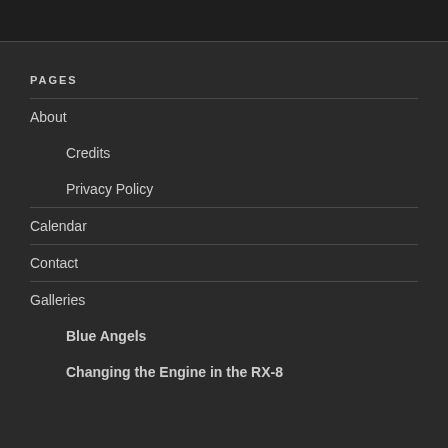PAGES
About
Credits
Privacy Policy
Calendar
Contact
Galleries
Blue Angels
Changing the Engine in the RX-8